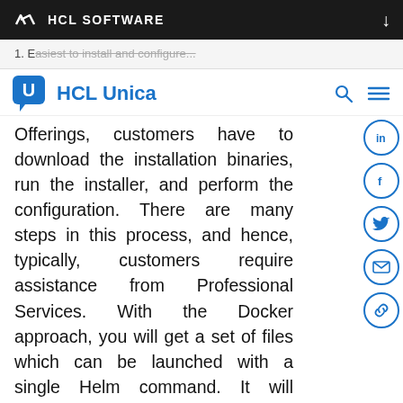HCL SOFTWARE
1. Easiest to install and configure...
[Figure (logo): HCL Unica logo with blue chat bubble U icon]
Offerings, customers have to download the installation binaries, run the installer, and perform the configuration. There are many steps in this process, and hence, typically, customers require assistance from Professional Services. With the Docker approach, you will get a set of files which can be launched with a single Helm command. It will automatically download the proper pre-installed and pre-configured Docker images, do the installation and start-up the applications. This process significantly decreases the